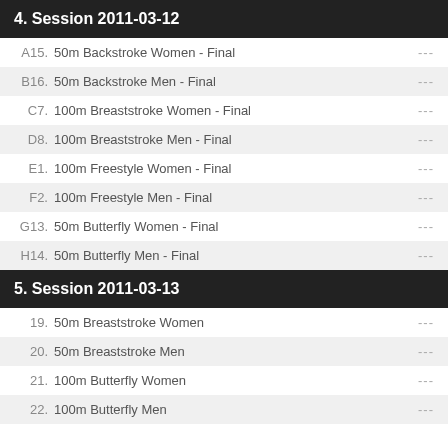4. Session 2011-03-12
A15.  50m Backstroke Women - Final  ---
B16.  50m Backstroke Men - Final  ---
C7.  100m Breaststroke Women - Final  ---
D8.  100m Breaststroke Men - Final  ---
E1.  100m Freestyle Women - Final  ---
F2.  100m Freestyle Men - Final  ---
G13.  50m Butterfly Women - Final  ---
H14.  50m Butterfly Men - Final  ---
5. Session 2011-03-13
19.  50m Breaststroke Women  ---
20.  50m Breaststroke Men  ---
21.  100m Butterfly Women  ---
22.  100m Butterfly Men  ---